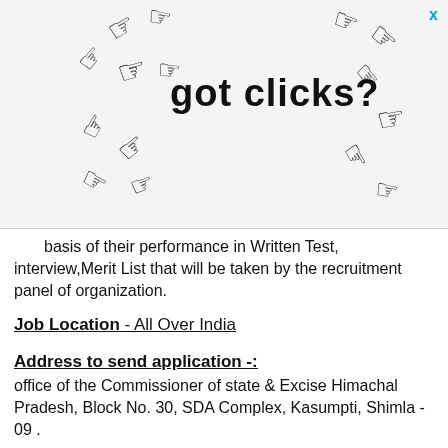[Figure (illustration): Advertisement banner showing 'got clicks?' text with cursor/hand pointer icons scattered around it, and an X close button in top right corner.]
basis of their performance in Written Test, Interview,Merit List that will be taken by the recruitment panel of organization.
Job Location - All Over India
Address to send application -:
office of the Commissioner of state & Excise Himachal Pradesh, Block No. 30, SDA Complex, Kasumpti, Shimla - 09 .
How could we apply for Department of Excise & Taxation ? -: